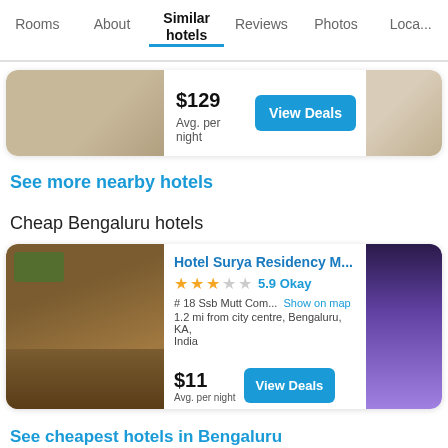Rooms | About | Similar hotels | Reviews | Photos | Loca...
$129 Avg. per night — View Deals
See more nearby hotels
Cheap Bengaluru hotels
Hotel Surya Residency M... ★★★☆☆ 5.9 Okay # 18 Ssb Mutt Com... Show on map 1.2 mi from city centre, Bengaluru, KA, India $11 Avg. per night View Deals
See cheapest hotels in Bengaluru